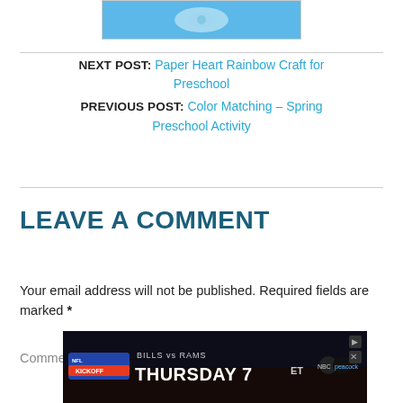[Figure (photo): Small image of a craft project on a blue background at top of page]
NEXT POST: Paper Heart Rainbow Craft for Preschool
PREVIOUS POST: Color Matching – Spring Preschool Activity
LEAVE A COMMENT
Your email address will not be published. Required fields are marked *
Comment *
[Figure (other): Advertisement banner: NFL KICKOFF - BILLS vs RAMS THURSDAY 7ET on NBC and Peacock]